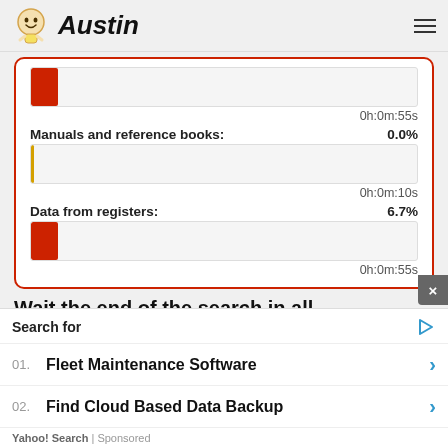Austin
[Figure (infographic): Progress bars showing search progress: first bar with red fill ~6.7% and time 0h:0m:55s; Manuals and reference books 0.0% with near-empty orange bar and time 0h:0m:10s; Data from registers 6.7% with red fill bar and time 0h:0m:55s]
Wait the end of the search in all
Search for
01. Fleet Maintenance Software
02. Find Cloud Based Data Backup
Yahoo! Search | Sponsored